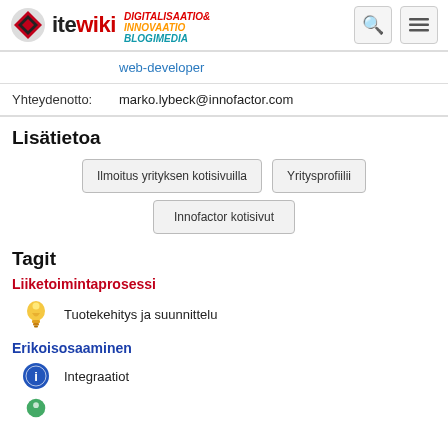ite wiki — DIGITALISAATIO & INNOVAATIO BLOGIMEDIA
|  | web-developer |
| Yhteydenotto: | marko.lybeck@innofactor.com |
Lisätietoa
Ilmoitus yrityksen kotisivuilla | Yritysprofiilii | Innofactor kotisivut
Tagit
Liiketoimintaprosessi
Tuotekehitys ja suunnittelu
Erikoisosaaminen
Integraatiot